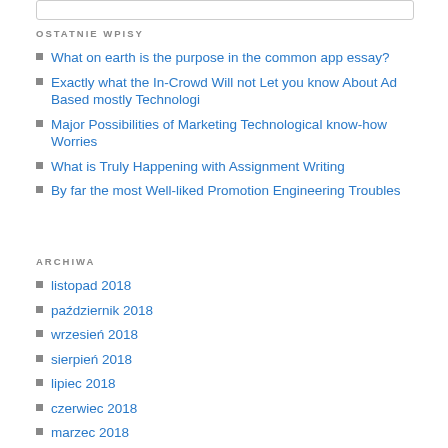OSTATNIE WPISY
What on earth is the purpose in the common app essay?
Exactly what the In-Crowd Will not Let you know About Ad Based mostly Technologi
Major Possibilities of Marketing Technological know-how Worries
What is Truly Happening with Assignment Writing
By far the most Well-liked Promotion Engineering Troubles
ARCHIWA
listopad 2018
październik 2018
wrzesień 2018
sierpień 2018
lipiec 2018
czerwiec 2018
marzec 2018
luty 2018
styczeń 2018